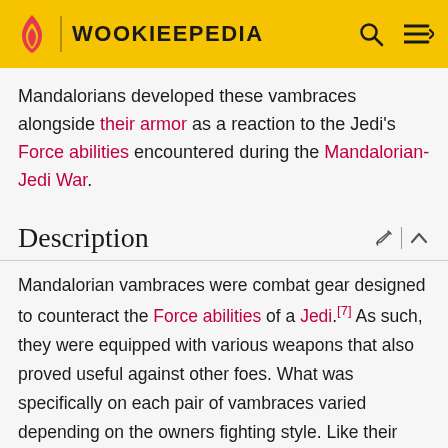WOOKIEEPEDIA
Mandalorians developed these vambraces alongside their armor as a reaction to the Jedi's Force abilities encountered during the Mandalorian-Jedi War.
Description
Mandalorian vambraces were combat gear designed to counteract the Force abilities of a Jedi.[7] As such, they were equipped with various weapons that also proved useful against other foes. What was specifically on each pair of vambraces varied depending on the owners fighting style. Like their armor, a Mandalorian's vambraces were made of beskar, making them impervious to lightsaber attacks. A few Mandalorians had touchscreen displays that were associated with the